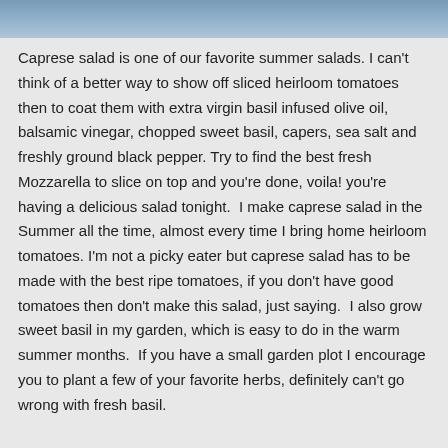[Figure (photo): Partial blue-toned photo strip at the top of the page]
Caprese salad is one of our favorite summer salads. I can't think of a better way to show off sliced heirloom tomatoes then to coat them with extra virgin basil infused olive oil, balsamic vinegar, chopped sweet basil, capers, sea salt and freshly ground black pepper. Try to find the best fresh Mozzarella to slice on top and you're done, voila! you're having a delicious salad tonight.  I make caprese salad in the Summer all the time, almost every time I bring home heirloom tomatoes. I'm not a picky eater but caprese salad has to be made with the best ripe tomatoes, if you don't have good tomatoes then don't make this salad, just saying.  I also grow sweet basil in my garden, which is easy to do in the warm summer months.  If you have a small garden plot I encourage you to plant a few of your favorite herbs, definitely can't go wrong with fresh basil.